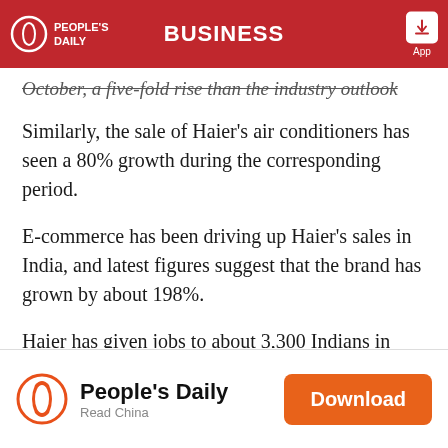BUSINESS
October, a five-fold rise than the industry outlook
Similarly, the sale of Haier’s air conditioners has seen a 80% growth during the corresponding period.
E-commerce has been driving up Haier’s sales in India, and latest figures suggest that the brand has grown by about 198%.
Haier has given jobs to about 3,300 Indians in Pune as it looks to expand in India.
People’s Daily Read China Download